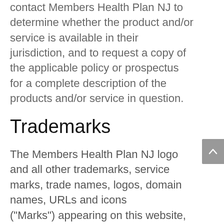contact Members Health Plan NJ to determine whether the product and/or service is available in their jurisdiction, and to request a copy of the applicable policy or prospectus for a complete description of the products and/or service in question.
Trademarks
The Members Health Plan NJ logo and all other trademarks, service marks, trade names, logos, domain names, URLs and icons ("Marks") appearing on this website, registered or not, are the property of Affiliated Physicians and Employers Master Trust or their respective owners.